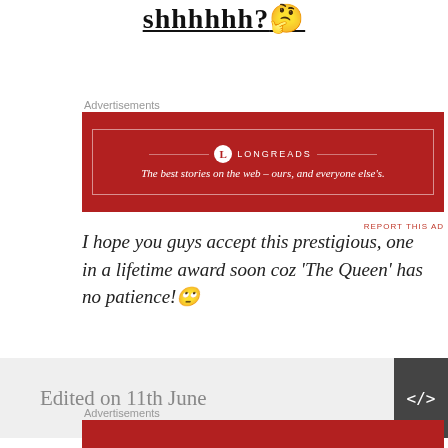shhhhhh?🤔
Advertisements
[Figure (other): Longreads advertisement banner in dark red with text: The best stories on the web – ours, and everyone else's.]
REPORT THIS AD
I hope you guys accept this prestigious, one in a lifetime award soon coz 'The Queen' has no patience!🙄
Edited on 11th June
Advertisements
[Figure (other): Longreads advertisement banner (partial, cropped at bottom)]